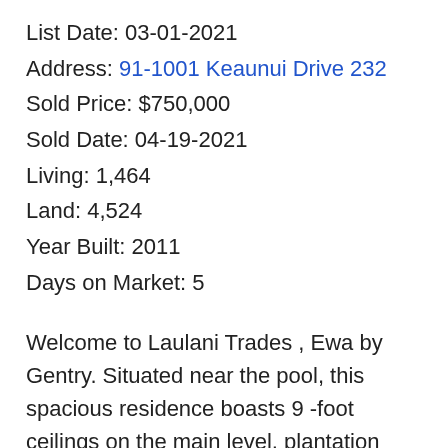List Date: 03-01-2021
Address: 91-1001 Keaunui Drive 232
Sold Price: $750,000
Sold Date: 04-19-2021
Living: 1,464
Land: 4,524
Year Built: 2011
Days on Market: 5
Welcome to Laulani Trades , Ewa by Gentry. Situated near the pool, this spacious residence boasts 9 -foot ceilings on the main level, plantation shutters, 3 beds, one of which is an extra- large master suite, 3 full baths and an attached 2-car garage. Home has parking for a total of 4 vehicles. On the main level you will find newly